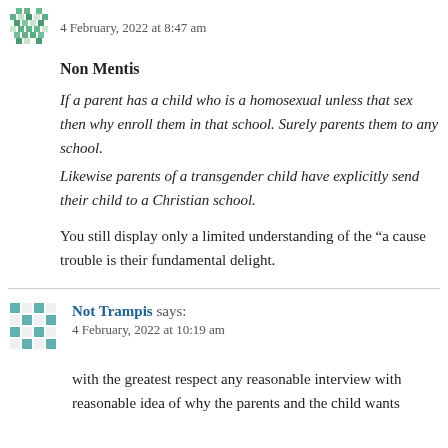4 February, 2022 at 8:47 am
Non Mentis
If a parent has a child who is a homosexual unless that sex then why enroll them in that school. Surely parents them to any school.
Likewise parents of a transgender child have explicitly send their child to a Christian school.
You still display only a limited understanding of the “a cause trouble is their fundamental delight.
Not Trampis says:
4 February, 2022 at 10:19 am
with the greatest respect any reasonable interview with reasonable idea of why the parents and the child wants